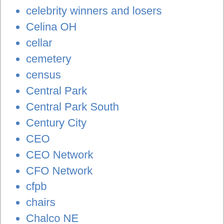celebrity winners and losers
Celina OH
cellar
cemetery
census
Central Park
Central Park South
Century City
CEO
CEO Network
CFO Network
cfpb
chairs
Chalco NE
chalkboard paint
Champaign IL
chandeliers
Chandler AZ
change of address